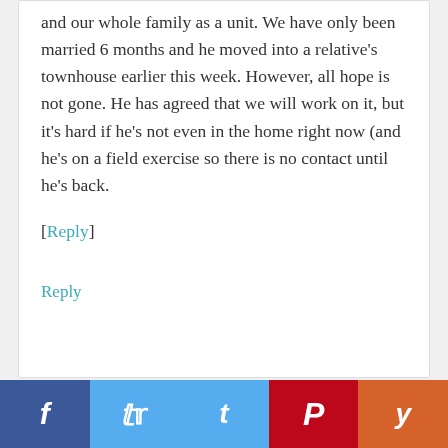and our whole family as a unit. We have only been married 6 months and he moved into a relative's townhouse earlier this week. However, all hope is not gone. He has agreed that we will work on it, but it's hard if he's not even in the home right now (and he's on a field exercise so there is no contact until he's back.
[Reply]
Reply